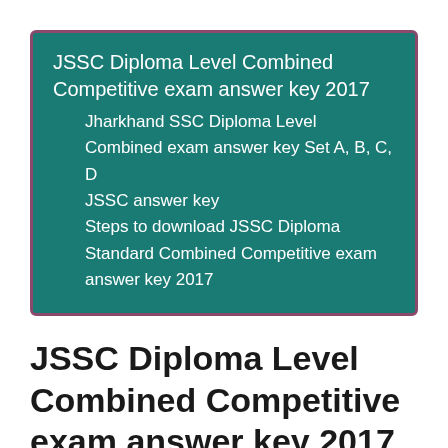[Figure (other): Teal/dark-green table-of-contents box with magenta border listing: JSSC Diploma Level Combined Competitive exam answer key 2017; Jharkhand SSC Diploma Level Combined exam answer key Set A, B, C, D; JSSC answer key; Steps to download JSSC Diploma Standard Combined Competitive exam answer key 2017]
JSSC Diploma Level Combined Competitive exam answer key 2017